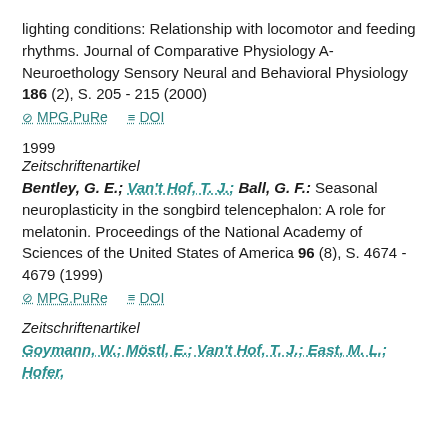lighting conditions: Relationship with locomotor and feeding rhythms. Journal of Comparative Physiology A-Neuroethology Sensory Neural and Behavioral Physiology 186 (2), S. 205 - 215 (2000)
MPG.PuRe   DOI
1999
Zeitschriftenartikel
Bentley, G. E.; Van't Hof, T. J.; Ball, G. F.: Seasonal neuroplasticity in the songbird telencephalon: A role for melatonin. Proceedings of the National Academy of Sciences of the United States of America 96 (8), S. 4674 - 4679 (1999)
MPG.PuRe   DOI
Zeitschriftenartikel
Goymann, W.; Möstl, E.; Van't Hof, T. J.; East, M. L.; Hofer,